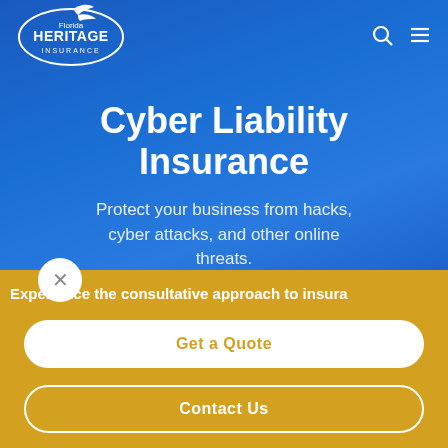[Figure (logo): Florida Heritage Insurance oval logo with bird, white text on blue background]
Cyber Liability Insurance
Protect your business from hacks, cyber attacks, and other online threats.
Experience the consultative approach to insura
Get a Quote
Contact Us